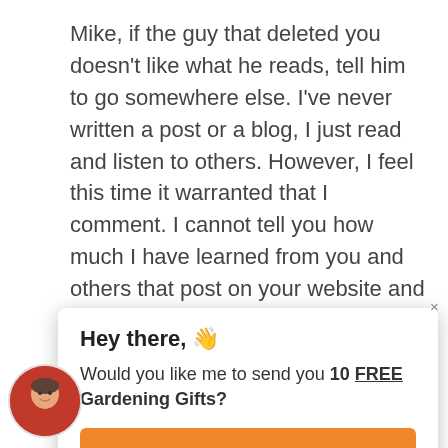Mike, if the guy that deleted you doesn't like what he reads, tell him to go somewhere else. I've never written a post or a blog, I just read and listen to others. However, I feel this time it warranted that I comment. I cannot tell you how much I have learned from you and others that post on your website and it's an absolute joy to open my email and see that I have something from
[Figure (screenshot): Popup modal with heading 'Hey there, 👋', body text 'Would you like me to send you 10 FREE Gardening Gifts?', and an orange button labeled 'YES, PLEASE!'. A close X button is visible in the top right corner of the popup.]
[Figure (photo): Small circular avatar photo of an older man wearing glasses and a red shirt, positioned in the bottom left corner.]